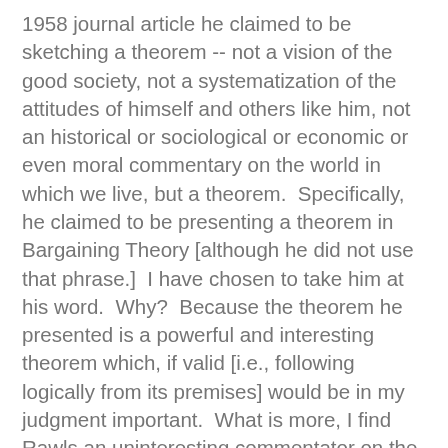1958 journal article he claimed to be sketching a theorem -- not a vision of the good society, not a systematization of the attitudes of himself and others like him, not an historical or sociological or economic or even moral commentary on the world in which we live, but a theorem.  Specifically, he claimed to be presenting a theorem in Bargaining Theory [although he did not use that phrase.]  I have chosen to take him at his word.  Why?  Because the theorem he presented is a powerful and interesting theorem which, if valid [i.e., following logically from its premises] would be in my judgment important.  What is more, I find Rawls an uninteresting commentator on the passing scene.  I look for my moral and political inspiration elsewhere.  However, it is of course open to all to read any book in any way they choose, and there is no disputing about tastes, as the Latin tag has it.